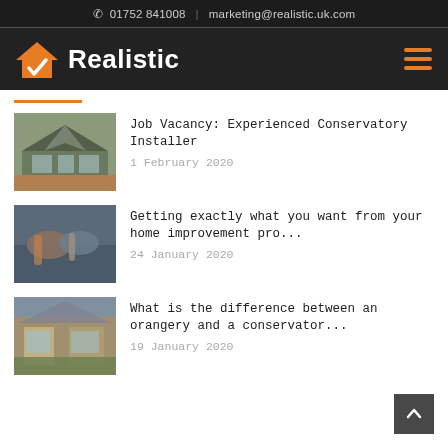01752 841008 | marketing@realistic.uk.com
[Figure (logo): Realistic company logo with orange house icon and white bold text 'Realistic' on dark background, with hamburger menu icon on right]
Job Vacancy: Experienced Conservatory Installer – 1 February 2020
Getting exactly what you want from your home improvement pro... – 24 January 2020
What is the difference between an orangery and a conservator... – 19 January 2020